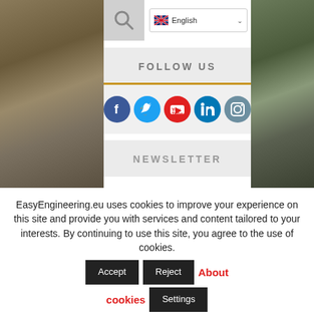[Figure (screenshot): Website header with background photos of industrial/engineering site on left and right sides, search icon, and English language selector dropdown]
FOLLOW US
[Figure (infographic): Social media icons in circles: Facebook (dark blue), Twitter (light blue), YouTube (red), LinkedIn (blue), Instagram (grey-blue)]
NEWSLETTER
EasyEngineering.eu uses cookies to improve your experience on this site and provide you with services and content tailored to your interests. By continuing to use this site, you agree to the use of cookies.
Accept  Reject  About cookies  Settings